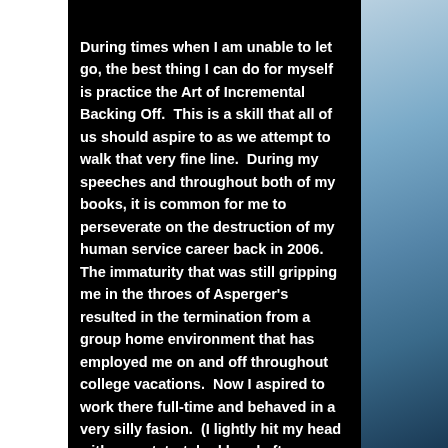During times when I am unable to let go, the best thing I can do for myself is practice the Art of Incremental Backing Off.  This is a skill that all of us should aspire to as we attempt to walk that very fine line.  During my speeches and throughout both of my books, it is common for me to perseverate on the destruction of my human service career back in 2006.  The immaturity that was still gripping me in the throes of Asperger's resulted in the termination from a group home environment that has employed me on and off throughout college vacations.  Now I aspired to work there full-time and behaved in a very silly fasion.  (I lightly hit my head with an outstretched hand after learning that the